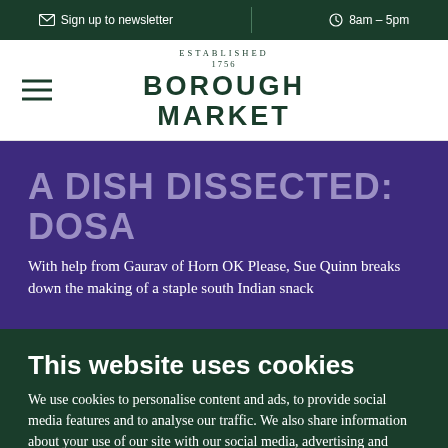Sign up to newsletter  |  8am – 5pm
[Figure (logo): Borough Market logo with hamburger menu icon. Text: ESTABLISHED 1756 BOROUGH MARKET]
A DISH DISSECTED: DOSA
With help from Gaurav of Horn OK Please, Sue Quinn breaks down the making of a staple south Indian snack
This website uses cookies
We use cookies to personalise content and ads, to provide social media features and to analyse our traffic. We also share information about your use of our site with our social media, advertising and